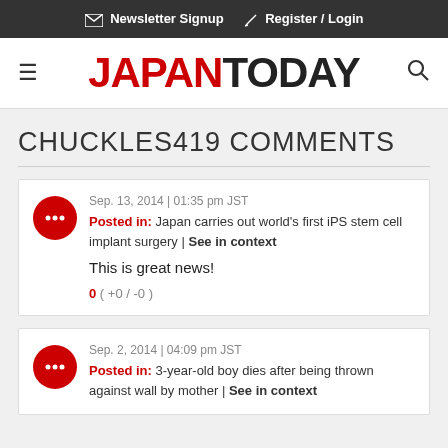Newsletter Signup  Register / Login
JAPAN TODAY
CHUCKLES419 COMMENTS
Sep. 13, 2014 | 01:35 pm JST
Posted in: Japan carries out world's first iPS stem cell implant surgery | See in context
This is great news!
0 ( +0 / -0 )
Sep. 2, 2014 | 04:09 pm JST
Posted in: 3-year-old boy dies after being thrown against wall by mother | See in context